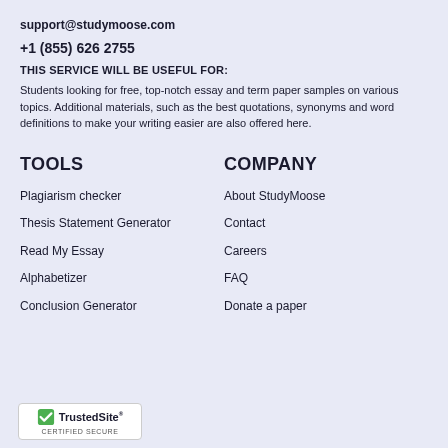support@studymoose.com
+1 (855) 626 2755
THIS SERVICE WILL BE USEFUL FOR:
Students looking for free, top-notch essay and term paper samples on various topics. Additional materials, such as the best quotations, synonyms and word definitions to make your writing easier are also offered here.
TOOLS
COMPANY
Plagiarism checker
About StudyMoose
Thesis Statement Generator
Contact
Read My Essay
Careers
Alphabetizer
FAQ
Conclusion Generator
Donate a paper
[Figure (logo): TrustedSite CERTIFIED SECURE badge with green checkmark]